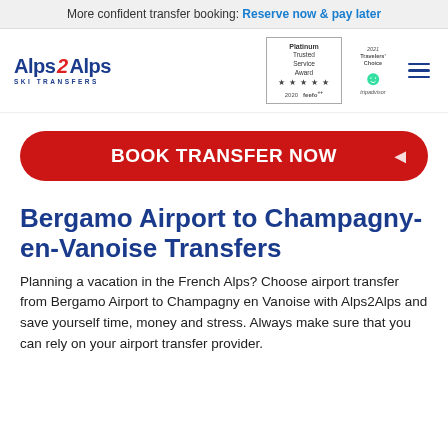More confident transfer booking: Reserve now & pay later
[Figure (logo): Alps 2 Alps Ski Transfers logo with Feefo Platinum Trusted Service Award 2020 badge and TripAdvisor Travelers Choice badge, plus hamburger menu icon]
[Figure (other): BOOK TRANSFER NOW red rounded button with right-pointing arrow]
Bergamo Airport to Champagny-en-Vanoise Transfers
Planning a vacation in the French Alps? Choose airport transfer from Bergamo Airport to Champagny en Vanoise with Alps2Alps and save yourself time, money and stress. Always make sure that you can rely on your airport transfer provider.